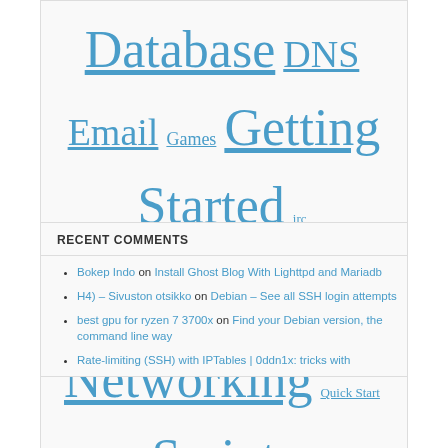Database DNS Email Games Getting Started irc lowendspirit.com Minstall Monitoring Networking Quick Start Scripts Secure your VPS Security Site Updates System tools Using Linux Webservers Windows Wordpress
RECENT COMMENTS
Bokep Indo on Install Ghost Blog With Lighttpd and Mariadb
H4) – Sivuston otsikko on Debian – See all SSH login attempts
best gpu for ryzen 7 3700x on Find your Debian version, the command line way
Rate-limiting (SSH) with IPTables | 0ddn1x: tricks with...